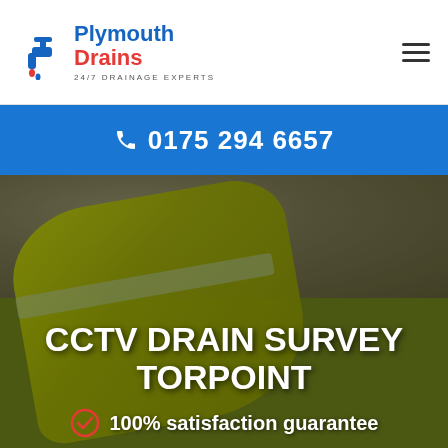[Figure (logo): Plymouth Drains logo with faucet icon and text 'Plymouth Drains 24/7 Drainage Experts']
[Figure (other): Hamburger menu icon (three horizontal lines) in the top right corner]
0175 294 6657
[Figure (photo): Photo of a worker in a yellow hi-vis vest near stone wall, associated with CCTV drain survey]
CCTV DRAIN SURVEY TORPOINT
100% satisfaction guarantee